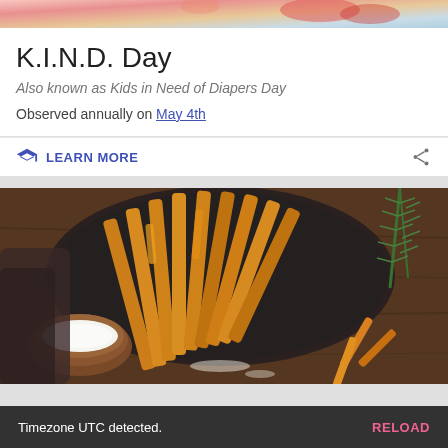[Figure (photo): Partial top image of colorful food/decoration background]
K.I.N.D. Day
Also known as Kids in Need of Diapers Day
Observed annually on May 4th
LEARN MORE
[Figure (photo): Close-up photograph of golden crispy bread sticks or pastry sticks arranged in a dark round pan, with a small bowl of salt/sugar and loose sticks on a wooden table with rosemary sprigs]
Timezone UTC detected.   RELOAD